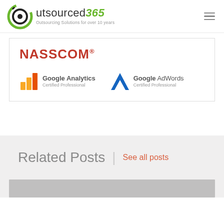Outsourced365 — Outsourcing Solutions for over 10 years
[Figure (logo): NASSCOM logo, Google Analytics Certified Professional logo, Google AdWords Certified Professional logo inside a bordered box]
Related Posts
See all posts
[Figure (photo): Partial gray image strip at bottom of page]